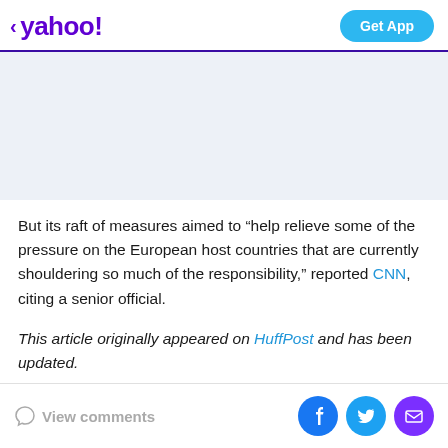< yahoo!  Get App
[Figure (other): Advertisement placeholder area with light blue-grey background]
But its raft of measures aimed to “help relieve some of the pressure on the European host countries that are currently shouldering so much of the responsibility,” reported CNN, citing a senior official.
This article originally appeared on HuffPost and has been updated.
View comments  [Facebook share] [Twitter share] [Email share]